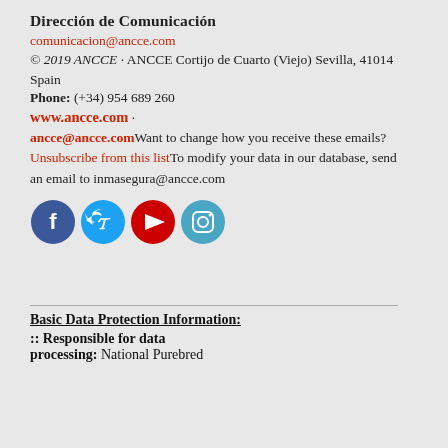Dirección de Comunicación
comunicacion@ancce.com
© 2019 ANCCE · ANCCE Cortijo de Cuarto (Viejo) Sevilla, 41014 Spain
Phone: (+34) 954 689 260
www.ancce.com · ancce@ancce.com Want to change how you receive these emails? Unsubscribe from this list To modify your data in our database, send an email to inmasegura@ancce.com
[Figure (illustration): Social media icons: Facebook (blue circle with f), Twitter (blue circle with bird), YouTube (red circle with play button), Instagram (blue-green circle with camera)]
Basic Data Protection Information:
:: Responsible for data processing: National Purebred